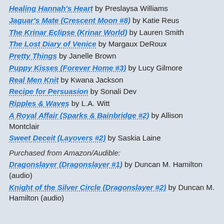Healing Hannah's Heart by Preslaysa Williams
Jaguar's Mate (Crescent Moon #8) by Katie Reus
The Krinar Eclipse (Krinar World) by Lauren Smith
The Lost Diary of Venice by Margaux DeRoux
Pretty Things by Janelle Brown
Puppy Kisses (Forever Home #3) by Lucy Gilmore
Real Men Knit by Kwana Jackson
Recipe for Persuasion by Sonali Dev
Ripples & Waves by L.A. Witt
A Royal Affair (Sparks & Bainbridge #2) by Allison Montclair
Sweet Deceit (Layovers #2) by Saskia Laine
Purchased from Amazon/Audible:
Dragonslayer (Dragonslayer #1) by Duncan M. Hamilton (audio)
Knight of the Silver Circle (Dragonslayer #2) by Duncan M. Hamilton (audio)